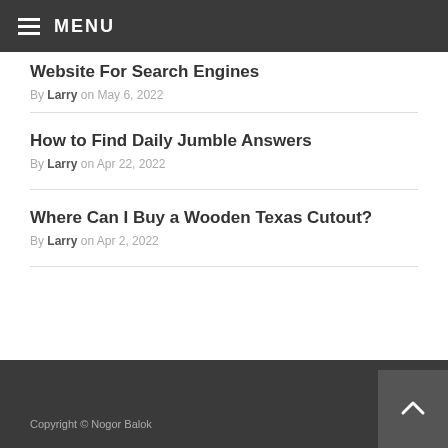MENU
Website For Search Engines — By Larry on May 6, 2022
How to Find Daily Jumble Answers — By Larry on Apr 22, 2022
Where Can I Buy a Wooden Texas Cutout? — By Larry on Apr 2, 2022
Copyright © Nogor Balok